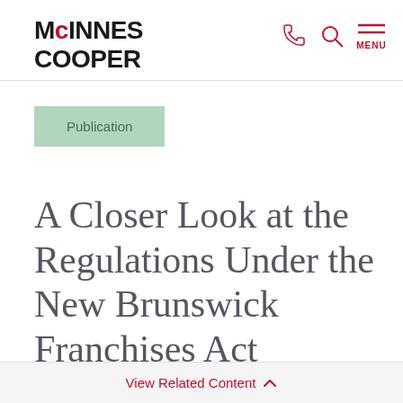McInnes Cooper
Publication
A Closer Look at the Regulations Under the New Brunswick Franchises Act
View Related Content